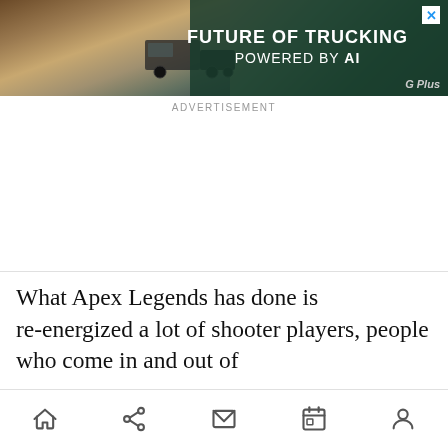[Figure (other): Advertisement banner showing a truck in desert landscape with text 'FUTURE OF TRUCKING POWERED BY AI' and G Plus logo]
ADVERTISEMENT
What Apex Legends has done is re-energized a lot of shooter players, people who come in and out of
[Figure (other): Mobile app bottom navigation bar with home, share, mail, calendar, and person icons]